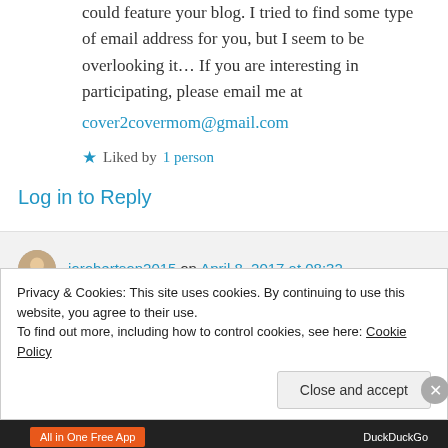could feature your blog. I tried to find some type of email address for you, but I seem to be overlooking it… If you are interesting in participating, please email me at
cover2covermom@gmail.com
★ Liked by 1 person
Log in to Reply
jorobertson2015 on April 8, 2017 at 08:32
Privacy & Cookies: This site uses cookies. By continuing to use this website, you agree to their use.
To find out more, including how to control cookies, see here: Cookie Policy